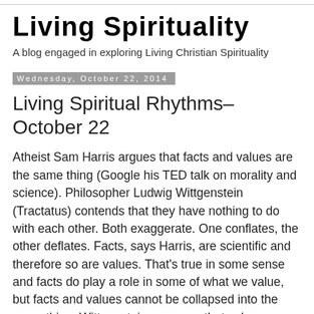Living Spirituality
A blog engaged in exploring Living Christian Spirituality
Wednesday, October 22, 2014
Living Spiritual Rhythms–October 22
Atheist Sam Harris argues that facts and values are the same thing (Google his TED talk on morality and science). Philosopher Ludwig Wittgenstein (Tractatus) contends that they have nothing to do with each other. Both exaggerate. One conflates, the other deflates. Facts, says Harris, are scientific and therefore so are values. That's true in some sense and facts do play a role in some of what we value, but facts and values cannot be collapsed into the same thing. Wittgenstein proposes that values are unspeakable and mystical, and thus completely differ from propositions of natural science as facts. I wager, Harris is reductionistic by putting them together, Wittgenstein by keeping them entirely